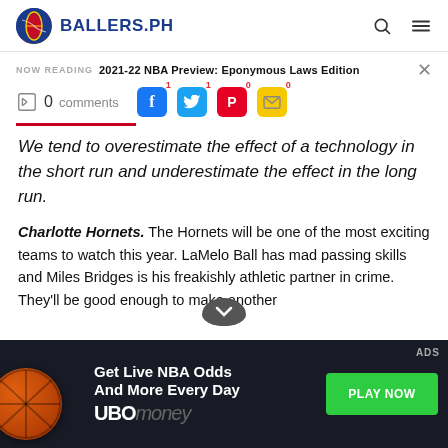BALLERS.PH
NOW READING  2021-22 NBA Preview: Eponymous Laws Edition
0 comments
We tend to overestimate the effect of a technology in the short run and underestimate the effect in the long run.
Charlotte Hornets. The Hornets will be one of the most exciting teams to watch this year. LaMelo Ball has mad passing skills and Miles Bridges is his freakishly athletic partner in crime. They'll be good enough to make another
[Figure (infographic): Advertisement banner: Get Live NBA Odds And More Every Day - UBOmoney. Green PLAY NOW button. Basketball image on left. Dark background.]